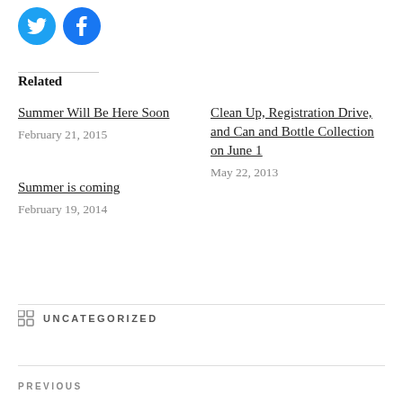[Figure (illustration): Twitter and Facebook social sharing icon circles in blue]
Related
Summer Will Be Here Soon
February 21, 2015
Clean Up, Registration Drive, and Can and Bottle Collection on June 1
May 22, 2013
Summer is coming
February 19, 2014
UNCATEGORIZED
PREVIOUS